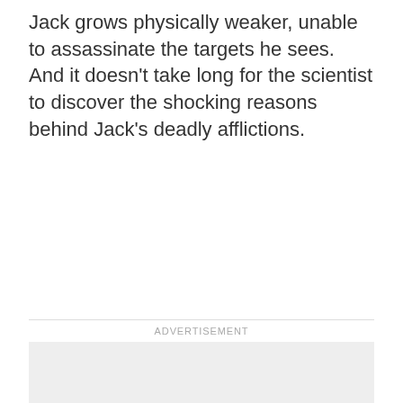Jack grows physically weaker, unable to assassinate the targets he sees. And it doesn't take long for the scientist to discover the shocking reasons behind Jack's deadly afflictions.
ADVERTISEMENT
[Figure (other): Advertisement placeholder box with light gray background]